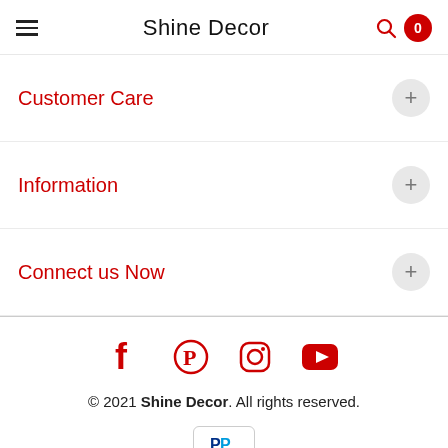Shine Decor
Customer Care
Information
Connect us Now
[Figure (other): Social media icons: Facebook, Pinterest, Instagram, YouTube]
© 2021 Shine Decor. All rights reserved.
[Figure (logo): PayPal payment logo badge]